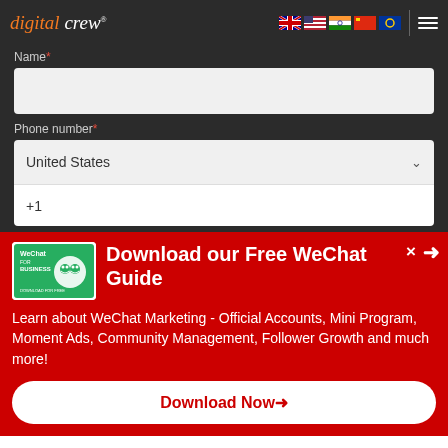[Figure (logo): Digital Crew logo in italic font with orange 'digital' and white 'crew' text]
[Figure (infographic): Row of country flag icons: Australia, USA, India, China, EU]
Name *
Phone number *
United States
+1
[Figure (logo): WeChat for Business guide book cover image with green WeChat logo]
Download our Free WeChat Guide
Learn about WeChat Marketing - Official Accounts, Mini Program, Moment Ads, Community Management, Follower Growth and much more!
Download Now→